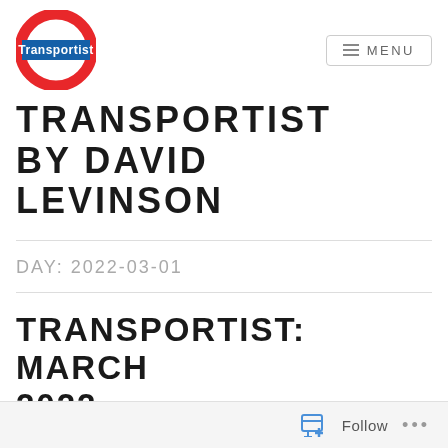[Figure (logo): Transportist logo: red circle ring with blue horizontal bar through center reading 'Transportist' in white text, similar to London Underground roundel]
≡ MENU
TRANSPORTIST BY DAVID LEVINSON
DAY: 2022-03-01
TRANSPORTIST: MARCH 2022
2022-03-01 | DAVID LEVINSON
Follow ...